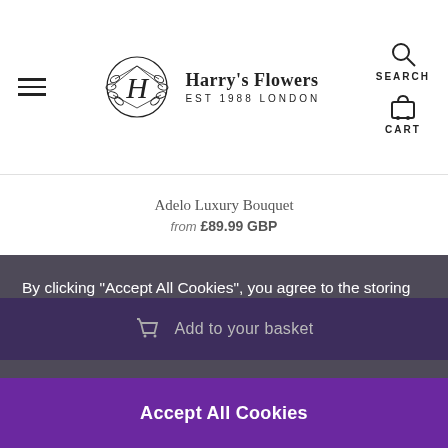Harry's Flowers EST 1988 LONDON — Navigation with hamburger menu, search, cart
Adelo Luxury Bouquet
from £89.99 GBP
By clicking "Accept All Cookies", you agree to the storing of cookies on your device to enhance site navigation, analyze site usage, and assist in our marketing efforts.
Add to your basket
Accept All Cookies